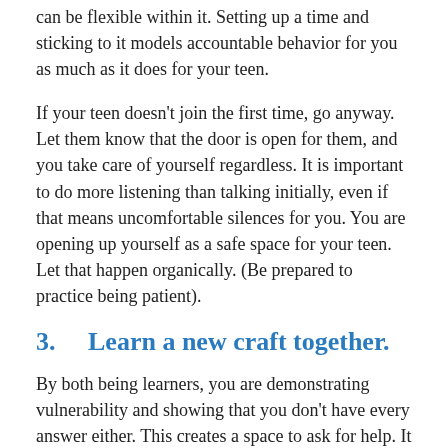can be flexible within it. Setting up a time and sticking to it models accountable behavior for you as much as it does for your teen.
If your teen doesn't join the first time, go anyway. Let them know that the door is open for them, and you take care of yourself regardless. It is important to do more listening than talking initially, even if that means uncomfortable silences for you. You are opening up yourself as a safe space for your teen. Let that happen organically. (Be prepared to practice being patient).
3.    Learn a new craft together.
By both being learners, you are demonstrating vulnerability and showing that you don't have every answer either. This creates a space to ask for help. It is one thing to say that you can help; it is another to show how to ask for help in a healthy way. The more